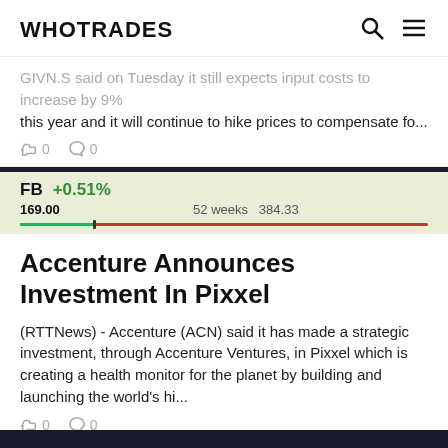WHOTRADES
GIVN.S said on Tuesday it still expects input costs to increase by 9% this year and it will continue to hike prices to compensate fo...
[Figure (infographic): FB stock ticker showing +0.51%, price range 169.00 to 384.33 (52 weeks) with a colored range bar]
Accenture Announces Investment In Pixxel
(RTTNews) - Accenture (ACN) said it has made a strategic investment, through Accenture Ventures, in Pixxel which is creating a health monitor for the planet by building and launching the world's hi...